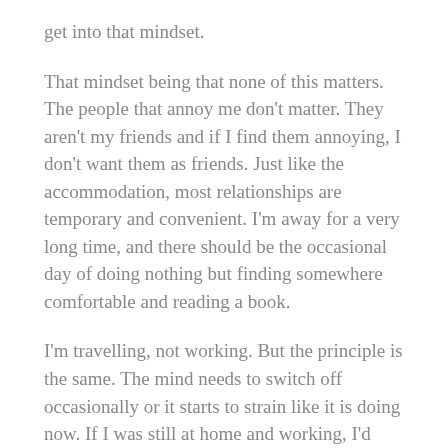get into that mindset.
That mindset being that none of this matters. The people that annoy me don't matter. They aren't my friends and if I find them annoying, I don't want them as friends. Just like the accommodation, most relationships are temporary and convenient. I'm away for a very long time, and there should be the occasional day of doing nothing but finding somewhere comfortable and reading a book.
I'm travelling, not working. But the principle is the same. The mind needs to switch off occasionally or it starts to strain like it is doing now. If I was still at home and working, I'd build in downtime so why am I not doing so now?